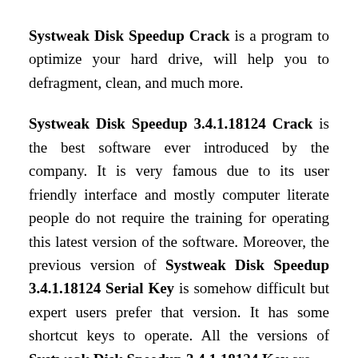Systweak Disk Speedup Crack is a program to optimize your hard drive, will help you to defragment, clean, and much more.
Systweak Disk Speedup 3.4.1.18124 Crack is the best software ever introduced by the company. It is very famous due to its user friendly interface and mostly computer literate people do not require the training for operating this latest version of the software. Moreover, the previous version of Systweak Disk Speedup 3.4.1.18124 Serial Key is somehow difficult but expert users prefer that version. It has some shortcut keys to operate. All the versions of Systweak Disk Speedup 3.4.1.18124 Key are